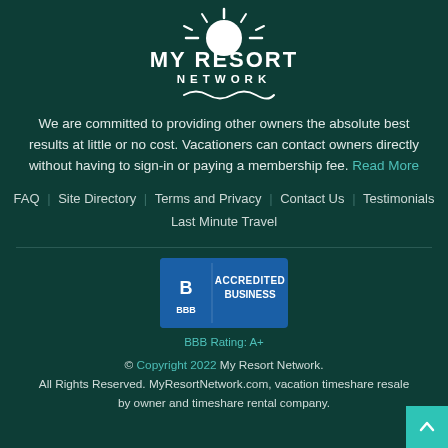[Figure (logo): My Resort Network logo with sun icon and wave decoration on dark teal background]
We are committed to providing other owners the absolute best results at little or no cost. Vacationers can contact owners directly without having to sign-in or paying a membership fee. Read More
FAQ | Site Directory | Terms and Privacy | Contact Us | Testimonials
Last Minute Travel
[Figure (logo): BBB Accredited Business badge with blue background]
BBB Rating: A+
© Copyright 2022 My Resort Network. All Rights Reserved. MyResortNetwork.com, vacation timeshare resale by owner and timeshare rental company.